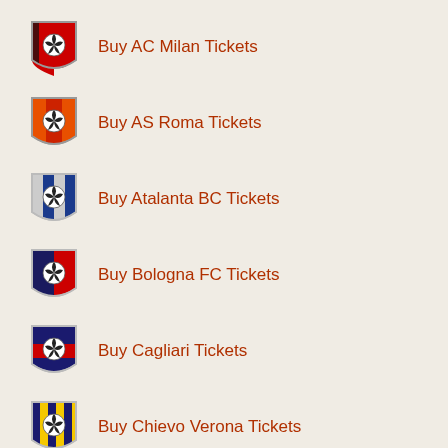Buy AC Milan Tickets
Buy AS Roma Tickets
Buy Atalanta BC Tickets
Buy Bologna FC Tickets
Buy Cagliari Tickets
Buy Chievo Verona Tickets
Empoli FC Tickets
Buy Fiorentina Tickets